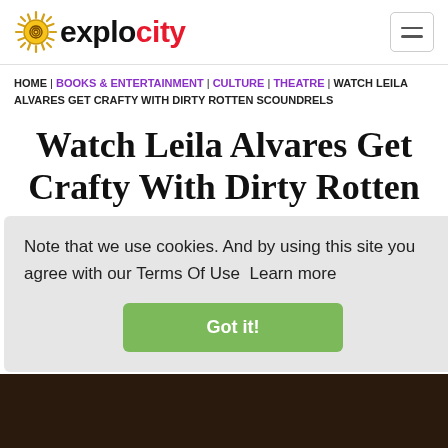explocity
HOME | BOOKS & ENTERTAINMENT | CULTURE | THEATRE | WATCH LEILA ALVARES GET CRAFTY WITH DIRTY ROTTEN SCOUNDRELS
Watch Leila Alvares Get Crafty With Dirty Rotten Scoundrels
Note that we use cookies. And by using this site you agree with our Terms Of Use  Learn more
Got it!